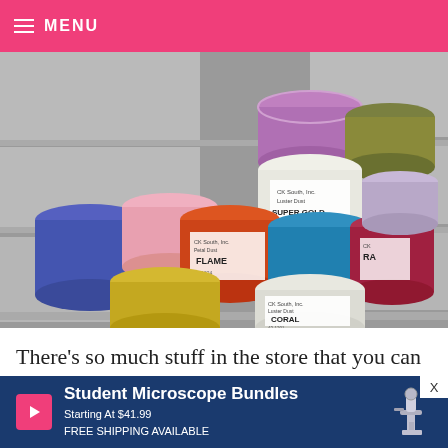MENU
[Figure (photo): Multiple small plastic containers of CK South Inc. luster dust and petal dust in various colors (blue, purple, orange/flame, yellow, teal/blue, red, green/olive, coral) stacked on a shelf with white storage boxes in the background.]
There’s so much stuff in the store that you can miss little things like this. Petal dust and luster dust… I think I’m in love. Now. I just have to figure out wh…
[Figure (other): Advertisement banner: Student Microscope Bundles, Starting At $41.99, FREE SHIPPING AVAILABLE, with a microscope illustration and play button icon.]